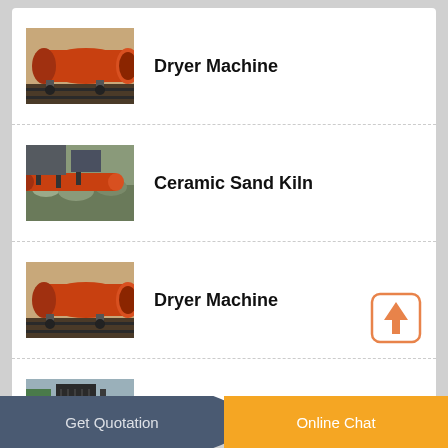[Figure (photo): Industrial rotary dryer machine, orange cylindrical drum on a rail platform]
Dryer Machine
[Figure (photo): Ceramic sand kiln industrial equipment with orange pipes and machinery]
Ceramic Sand Kiln
[Figure (photo): Industrial rotary dryer machine, same as first, orange cylindrical drum]
Dryer Machine
[Figure (photo): Dust catcher industrial equipment, large black filter unit outdoors]
Dust Catcher
Get Quotation   Online Chat